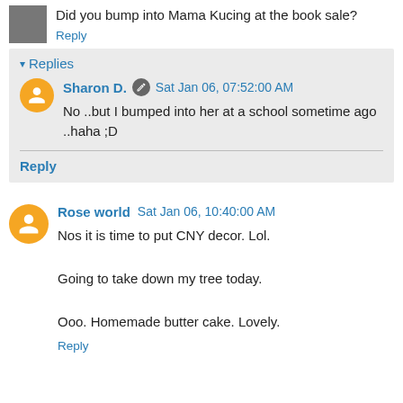Did you bump into Mama Kucing at the book sale?
Reply
Replies
Sharon D.  Sat Jan 06, 07:52:00 AM
No ..but I bumped into her at a school sometime ago ..haha ;D
Reply
Rose world  Sat Jan 06, 10:40:00 AM
Nos it is time to put CNY decor. Lol.

Going to take down my tree today.

Ooo. Homemade butter cake. Lovely.
Reply